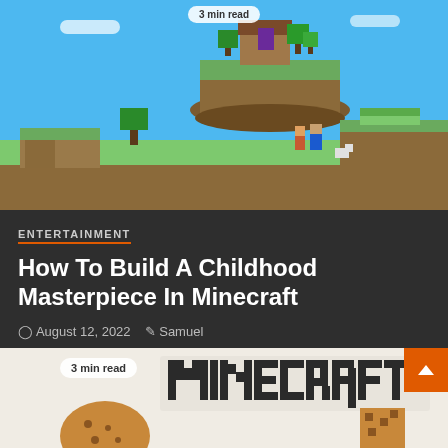[Figure (screenshot): Minecraft game scene showing a floating island with a house, trees, and characters on blocky terrain with blue sky]
3 min read
ENTERTAINMENT
How To Build A Childhood Masterpiece In Minecraft
August 12, 2022   Samuel
[Figure (screenshot): Bottom portion of next article showing Minecraft logo text and a cookie image on light background]
3 min read